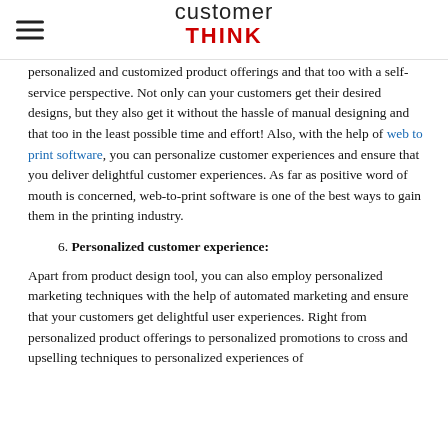customerTHINK
personalized and customized product offerings and that too with a self-service perspective. Not only can your customers get their desired designs, but they also get it without the hassle of manual designing and that too in the least possible time and effort! Also, with the help of web to print software, you can personalize customer experiences and ensure that you deliver delightful customer experiences. As far as positive word of mouth is concerned, web-to-print software is one of the best ways to gain them in the printing industry.
6. Personalized customer experience:
Apart from product design tool, you can also employ personalized marketing techniques with the help of automated marketing and ensure that your customers get delightful user experiences. Right from personalized product offerings to personalized promotions to cross and upselling techniques to personalized experiences of...